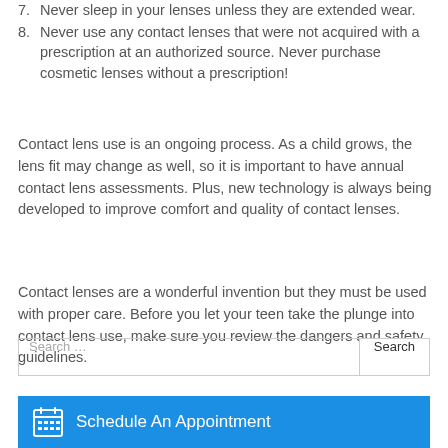7. Never sleep in your lenses unless they are extended wear.
8. Never use any contact lenses that were not acquired with a prescription at an authorized source. Never purchase cosmetic lenses without a prescription!
Contact lens use is an ongoing process. As a child grows, the lens fit may change as well, so it is important to have annual contact lens assessments. Plus, new technology is always being developed to improve comfort and quality of contact lenses.
Contact lenses are a wonderful invention but they must be used with proper care. Before you let your teen take the plunge into contact lens use, make sure you review the dangers and safety guidelines.
Search …
Schedule An Appointment